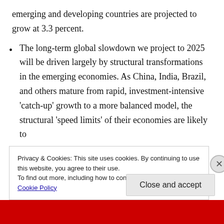emerging and developing countries are projected to grow at 3.3 percent.
The long-term global slowdown we project to 2025 will be driven largely by structural transformations in the emerging economies. As China, India, Brazil, and others mature from rapid, investment-intensive ‘catch-up’ growth to a more balanced model, the structural ‘speed limits’ of their economies are likely to
Privacy & Cookies: This site uses cookies. By continuing to use this website, you agree to their use.
To find out more, including how to control cookies, see here: Cookie Policy
Close and accept